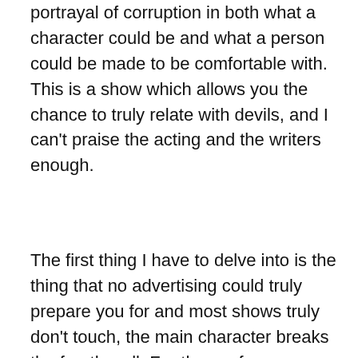portrayal of corruption in both what a character could be and what a person could be made to be comfortable with. This is a show which allows you the chance to truly relate with devils, and I can't praise the acting and the writers enough.
The first thing I have to delve into is the thing that no advertising could truly prepare you for and most shows truly don't touch, the main character breaks the fourth wall. For those of you unfamiliar with the phrase, Frank Underwood, played by Kevin Spacey, looks directly at the camera and conveys his true feelings as he is aware of the audience watching him. This technique has been popularized by Deadpool's recent cinema excursion, and is truly is an effect to put you in the equivalent of a close third person with the main character. And what a character he is. Frank Underwood is a southern bell sociopath with a